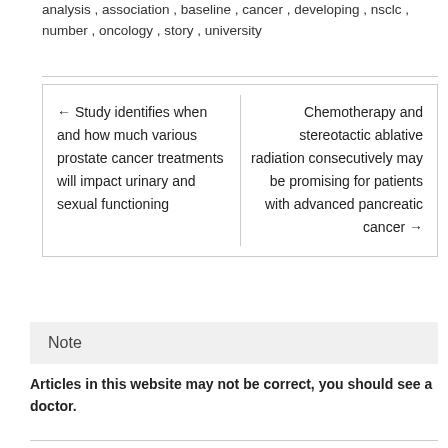analysis , association , baseline , cancer , developing , nsclc , number , oncology , story , university
← Study identifies when and how much various prostate cancer treatments will impact urinary and sexual functioning
Chemotherapy and stereotactic ablative radiation consecutively may be promising for patients with advanced pancreatic cancer →
Note
Articles in this website may not be correct, you should see a doctor.